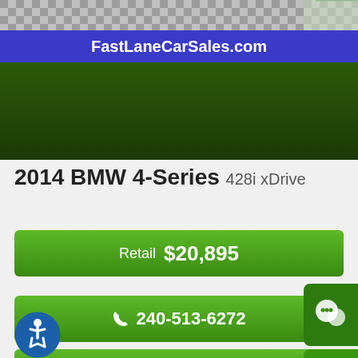FastLaneCarSales.com
2014 BMW 4-Series 428i xDrive
Retail $20,895
240-513-6272
Inquiry
Text Us